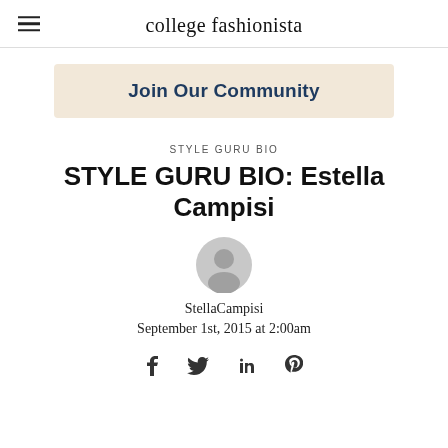college fashionista
Join Our Community
STYLE GURU BIO
STYLE GURU BIO: Estella Campisi
[Figure (other): Circular avatar/profile icon placeholder in gray]
StellaCampisi
September 1st, 2015 at 2:00am
Social sharing icons: Facebook, Twitter, LinkedIn, Pinterest